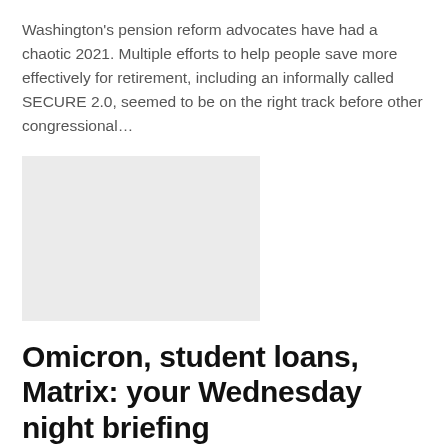Washington's pension reform advocates have had a chaotic 2021. Multiple efforts to help people save more effectively for retirement, including an informally called SECURE 2.0, seemed to be on the right track before other congressional...
[Figure (photo): A light gray rectangular image placeholder]
Omicron, student loans, Matrix: your Wednesday night briefing
Alexis J. Lawre...   Dec 22, 2021
(Want to receive this newsletter in your inbox? Here is registration.) Good evening. Here is the latest Wednesday at the end of the day. Omicron infections appear to be less serious than previous